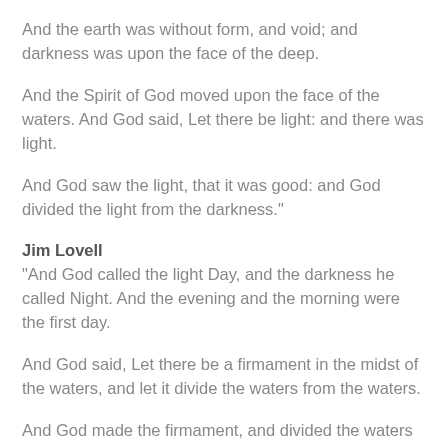And the earth was without form, and void; and darkness was upon the face of the deep.
And the Spirit of God moved upon the face of the waters. And God said, Let there be light: and there was light.
And God saw the light, that it was good: and God divided the light from the darkness."
Jim Lovell
"And God called the light Day, and the darkness he called Night. And the evening and the morning were the first day.
And God said, Let there be a firmament in the midst of the waters, and let it divide the waters from the waters.
And God made the firmament, and divided the waters which were under the firmament from the waters which were above the firmament: and it was so.
And God called the firmament Heaven. And the evening and